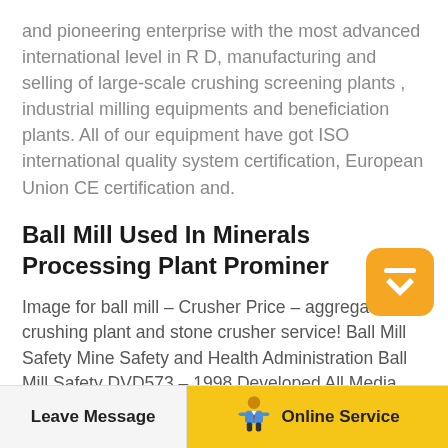and pioneering enterprise with the most advanced international level in R D, manufacturing and selling of large-scale crushing screening plants , industrial milling equipments and beneficiation plants. All of our equipment have got ISO international quality system certification, European Union CE certification and.
Ball Mill Used In Minerals Processing Plant Prominer
Image for ball mill – Crusher Price – aggregate crushing plant and stone crusher service! Ball Mill Safety Mine Safety and Health Administration Ball Mill Safety DVD573 – 1998 Developed All Media Types,.MINE 2 nd PIPELINE 400 KM 1 st PIPELINE They are conducted monthly with industrial samples
Leave Message | Online Service